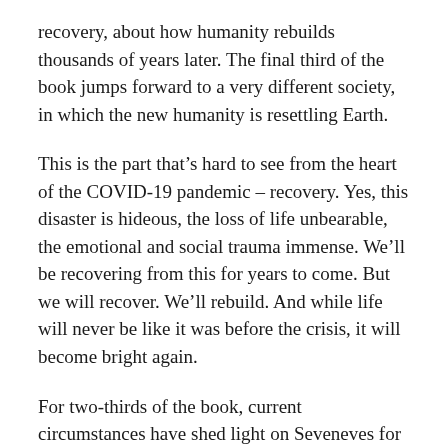recovery, about how humanity rebuilds thousands of years later. The final third of the book jumps forward to a very different society, in which the new humanity is resettling Earth.
This is the part that's hard to see from the heart of the COVID-19 pandemic – recovery. Yes, this disaster is hideous, the loss of life unbearable, the emotional and social trauma immense. We'll be recovering from this for years to come. But we will recover. We'll rebuild. And while life will never be like it was before the crisis, it will become bright again.
For two-thirds of the book, current circumstances have shed light on Seveneves for me, adding depth to the emotional experience. But for the final third, it's the book that's shedding light on the current crisis, giving me a reminder of what is to come, a sense of hope in terrible times.